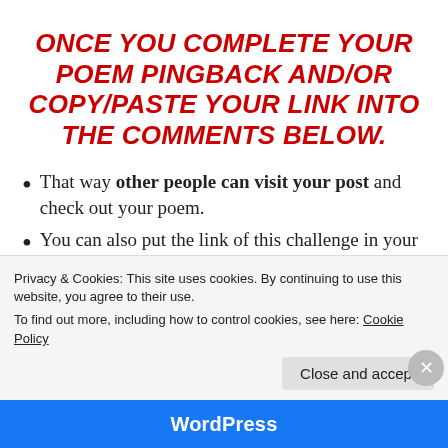ONCE YOU COMPLETE YOUR POEM PINGBACK AND/OR COPY/PASTE YOUR LINK INTO THE COMMENTS BELOW.
That way other people can visit your post and check out your poem.
You can also put the link of this challenge in your post to let your followers know where to go if they
Privacy & Cookies: This site uses cookies. By continuing to use this website, you agree to their use. To find out more, including how to control cookies, see here: Cookie Policy
Close and accept